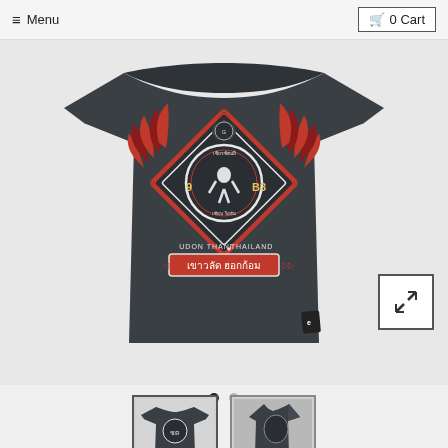≡ Menu   🛒 0 Cart
[Figure (photo): Dark gray Thai t-shirt showing back design with ornate red and white Thai graphic featuring a circular emblem, Thai text, UDON THANI THAILAND text, and decorative border elements]
[Figure (photo): Expand/fullscreen icon button]
[Figure (photo): Thumbnail 1 - front view of dark gray Thai t-shirt]
[Figure (photo): Thumbnail 2 - side/angle view of dark gray Thai t-shirt]